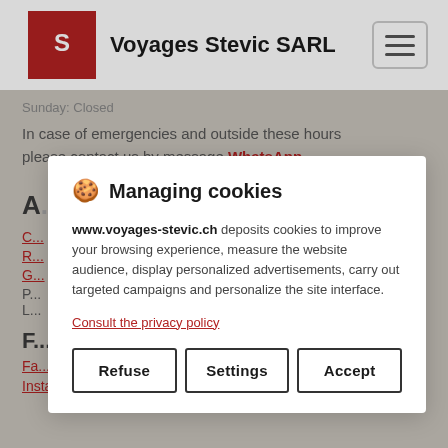Voyages Stevic SARL
Sunday: Closed
In case of emergencies and outside these hours please contact us by message WhatsApp
About us
C...
R...
G...
P...
L...
F...
Fa...
Instagram
[Figure (other): Cookie consent modal for www.voyages-stevic.ch with Refuse, Settings, Accept buttons]